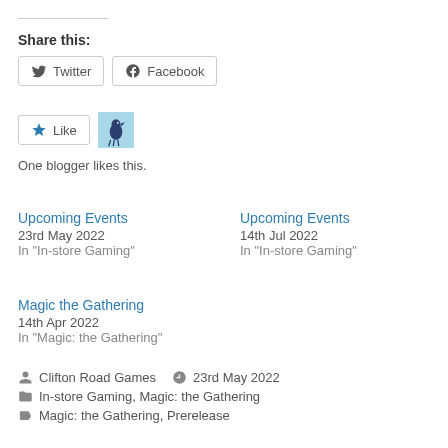Share this:
Twitter
Facebook
One blogger likes this.
Upcoming Events
23rd May 2022
In "In-store Gaming"
Upcoming Events
14th Jul 2022
In "In-store Gaming"
Magic the Gathering
14th Apr 2022
In "Magic: the Gathering"
Clifton Road Games   23rd May 2022
In-store Gaming, Magic: the Gathering
Magic: the Gathering, Prerelease